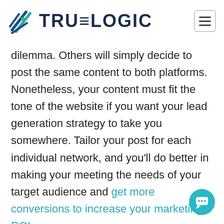[Figure (logo): TrueLogic logo with stylized icon and text]
dilemma. Others will simply decide to post the same content to both platforms. Nonetheless, your content must fit the tone of the website if you want your lead generation strategy to take you somewhere. Tailor your post for each individual network, and you'll do better in making your meeting the needs of your target audience and get more conversions to increase your marketing ROI.